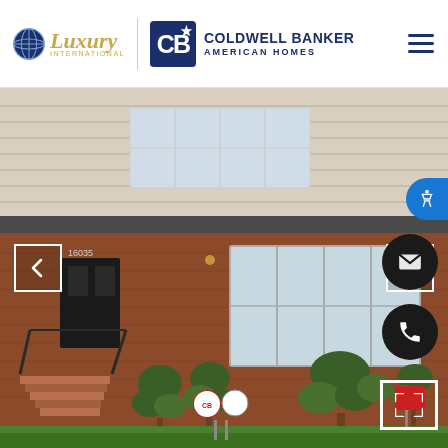[Figure (logo): Coldwell Banker American Homes with Luxury International logo header]
[Figure (photo): Exterior photo of a two-story brick residential home with manicured topiaries, front porch with steps, white siding upper floor, number 16035 on front, lush green lawn, navigation arrows on left and right sides]